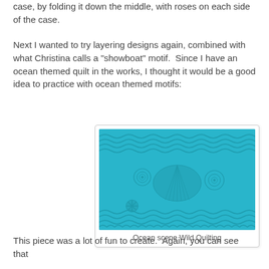case, by folding it down the middle, with roses on each side of the case.
Next I wanted to try layering designs again, combined with what Christina calls a "showboat" motif.  Since I have an ocean themed quilt in the works, I thought it would be a good idea to practice with ocean themed motifs:
[Figure (photo): A turquoise/teal quilted fabric panel showing an ocean scene with wave patterns, seashells, and sea creature motifs quilted in a monochromatic blue-green color.]
Ocean scene Wild Quilting
This piece was a lot of fun to create.  Again, you can see that